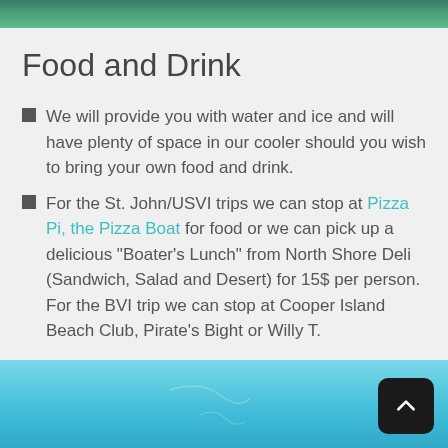[Figure (photo): Top banner image showing underwater coral reef scene in dark green/teal tones]
Food and Drink
We will provide you with water and ice and will have plenty of space in our cooler should you wish to bring your own food and drink.
For the St. John/USVI trips we can stop at Pizza Pi, the Pizza Boat for food or we can pick up a delicious "Boater's Lunch" from North Shore Deli (Sandwich, Salad and Desert) for 15$ per person. For the BVI trip we can stop at Cooper Island Beach Club, Pirate's Bight or Willy T.
[Figure (photo): Bottom image showing clear turquoise/cyan shallow water with sandy bottom]